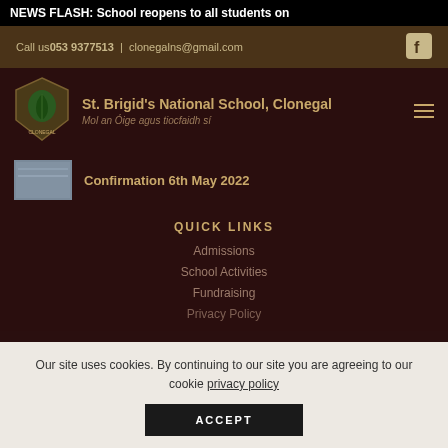NEWS FLASH: School reopens to all students on
Call us 053 9377513  |  clonegalns@gmail.com
St. Brigid's National School, Clonegal
Mol an Óige agus tiocfaidh sí
Confirmation 6th May 2022
QUICK LINKS
Admissions
School Activities
Fundraising
Privacy Policy
Our site uses cookies. By continuing to our site you are agreeing to our cookie privacy policy
ACCEPT